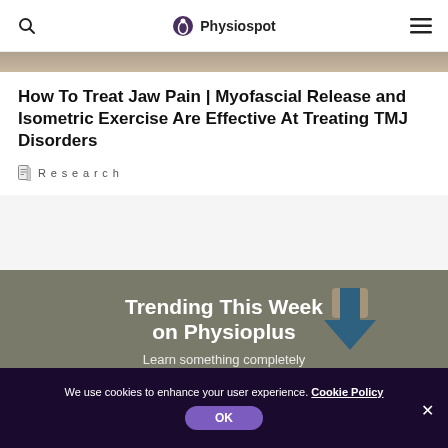Physiospot
How To Treat Jaw Pain | Myofascial Release and Isometric Exercise Are Effective At Treating TMJ Disorders
Research
[Figure (screenshot): Trending This Week on Physioplus banner with upward arrow icon and text 'Learn something completely']
We use cookies to enhance your user experience. Cookie Policy